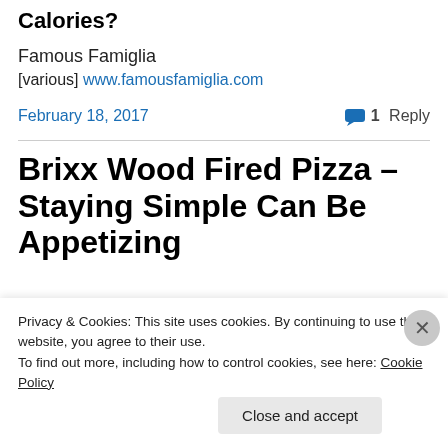Calories?
Famous Famiglia
[various] www.famousfamiglia.com
February 18, 2017
1 Reply
Brixx Wood Fired Pizza – Staying Simple Can Be Appetizing
Privacy & Cookies: This site uses cookies. By continuing to use this website, you agree to their use.
To find out more, including how to control cookies, see here: Cookie Policy